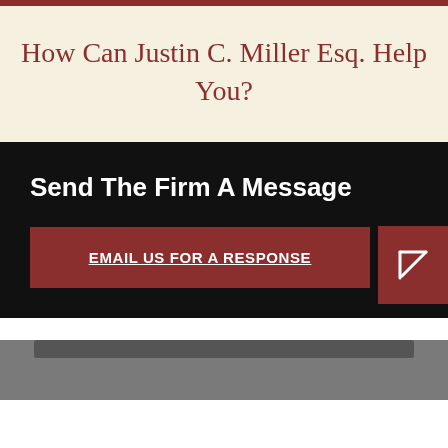How Can Justin C. Miller Esq. Help You?
Send The Firm A Message
EMAIL US FOR A RESPONSE